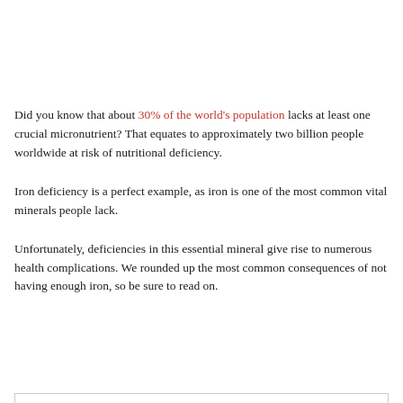Did you know that about 30% of the world's population lacks at least one crucial micronutrient? That equates to approximately two billion people worldwide at risk of nutritional deficiency.
Iron deficiency is a perfect example, as iron is one of the most common vital minerals people lack.
Unfortunately, deficiencies in this essential mineral give rise to numerous health complications. We rounded up the most common consequences of not having enough iron, so be sure to read on.